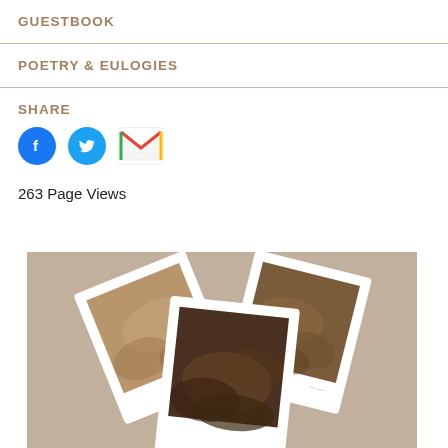GUESTBOOK
POETRY & EULOGIES
SHARE
263 Page Views
[Figure (illustration): Illustration of three overlapping polaroid-style photo prints on a beige/taupe background, arranged at different angles. The photos show abstract brownish imagery.]